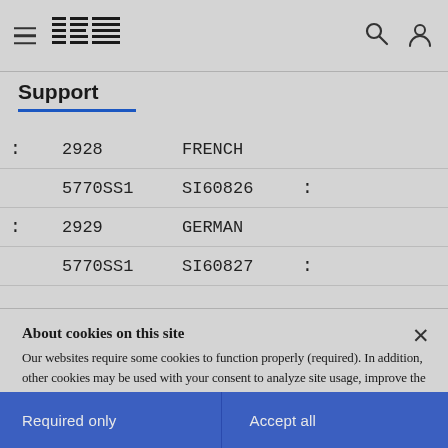IBM navigation bar with hamburger menu, IBM logo, search icon, and user icon
Support
: 2928  FRENCH
  5770SS1  SI60826  :
: 2929  GERMAN
  5770SS1  SI60827  :
About cookies on this site
Our websites require some cookies to function properly (required). In addition, other cookies may be used with your consent to analyze site usage, improve the user experience and for advertising.

For more information, please review your Cookie preferences options and IBM's privacy statement.
Required only
Accept all